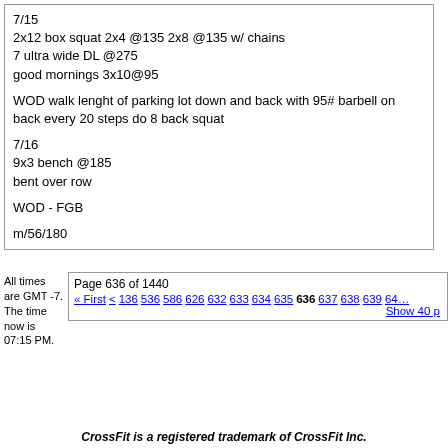7/15
2x12 box squat 2x4 @135 2x8 @135 w/ chains
7 ultra wide DL @275
good mornings 3x10@95
WOD walk lenght of parking lot down and back with 95# barbell on back every 20 steps do 8 back squat
7/16
9x3 bench @185
bent over row
WOD - FGB
m/56/180
All times are GMT -7. The time now is 07:15 PM.
Page 636 of 1440
« First  <  136  536  586  626  632  633  634  635  636  637  638  639  640...
Show 40 p
CrossFit is a registered trademark of CrossFit Inc.